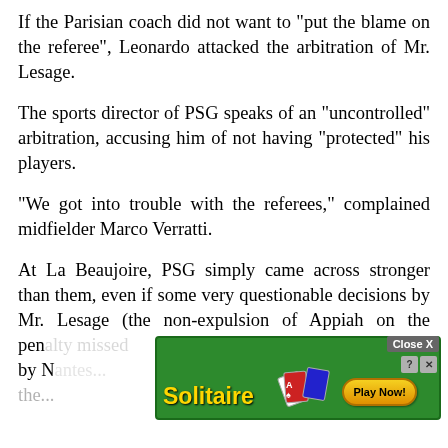If the Parisian coach did not want to "put the blame on the referee", Leonardo attacked the arbitration of Mr. Lesage.
The sports director of PSG speaks of an "uncontrolled" arbitration, accusing him of not having "protected" his players.
"We got into trouble with the referees," complained midfielder Marco Verratti.
At La Beaujoire, PSG simply came across stronger than them, even if some very questionable decisions by Mr. Lesage (the non-expulsion of Appiah on the penalty missed by N… s on the…
[Figure (screenshot): Solitaire game advertisement overlay with 'Close X' button, help and close icons, 'Solitaire' title text, card fan graphic, and 'Play Now!' button on green background.]